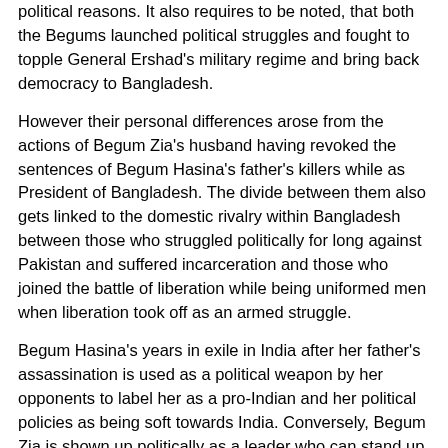political reasons. It also requires to be noted, that both the Begums launched political struggles and fought to topple General Ershad's military regime and bring back democracy to Bangladesh.
However their personal differences arose from the actions of Begum Zia's husband having revoked the sentences of Begum Hasina's father's killers while as President of Bangladesh. The divide between them also gets linked to the domestic rivalry within Bangladesh between those who struggled politically for long against Pakistan and suffered incarceration and those who joined the battle of liberation while being uniformed men when liberation took off as an armed struggle.
Begum Hasina's years in exile in India after her father's assassination is used as a political weapon by her opponents to label her as a pro-Indian and her political policies as being soft towards India. Conversely, Begum Zia is shown up politically as a leader who can stand up to India. It would not be far wrong to perceive a Pakistani hand in this political game as the Pakistanis and the Pakistan Army in particular have never forgiven Begum Hasina's father, Sheikh Mujibur Rehman for breaking up Pakistan.
The forthcoming elections in Bangladesh are likely to once again being marked by acid bitterness and rancor between the two Begums. But the patriotic Bangladeshi...